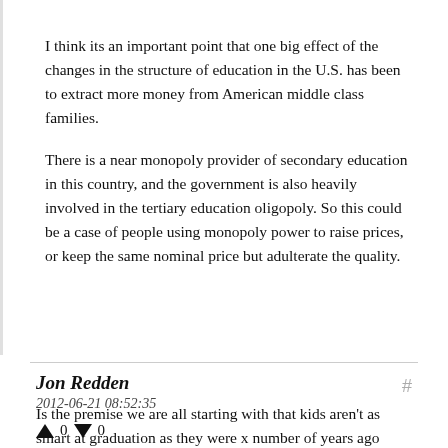I think its an important point that one big effect of the changes in the structure of education in the U.S. has been to extract more money from American middle class families.

There is a near monopoly provider of secondary education in this country, and the government is also heavily involved in the tertiary education oligopoly. So this could be a case of people using monopoly power to raise prices, or keep the same nominal price but adulterate the quality.
Jon Redden
2012-06-21 08:52:35
Hide Replies
Is the premise we are all starting with that kids aren't as smart at graduation as they were x number of years ago when school was cheaper? I've seen links on how kids study less than they did more, but no correlation as to whether this means that the